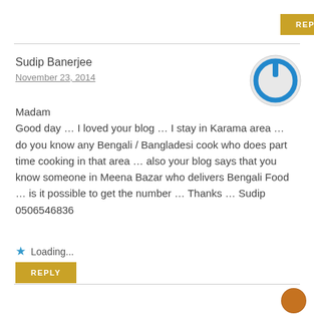REPLY
Sudip Banerjee
November 23, 2014
Madam
Good day … I loved your blog … I stay in Karama area … do you know any Bengali / Bangladesi cook who does part time cooking in that area … also your blog says that you know someone in Meena Bazar who delivers Bengali Food … is it possible to get the number … Thanks … Sudip 0506546836
Loading...
REPLY
IshitaUnblogged